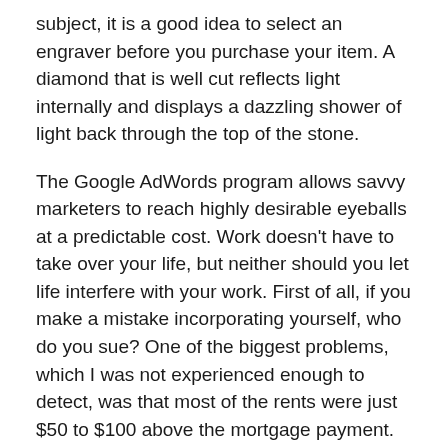subject, it is a good idea to select an engraver before you purchase your item. A diamond that is well cut reflects light internally and displays a dazzling shower of light back through the top of the stone.
The Google AdWords program allows savvy marketers to reach highly desirable eyeballs at a predictable cost. Work doesn’t have to take over your life, but neither should you let life interfere with your work. First of all, if you make a mistake incorporating yourself, who do you sue? One of the biggest problems, which I was not experienced enough to detect, was that most of the rents were just $50 to $100 above the mortgage payment.
They are easy to use with any existing hair removal method (excluding depilatories). Sugar paste is easily cleaned up with water whereas wax can be more messy